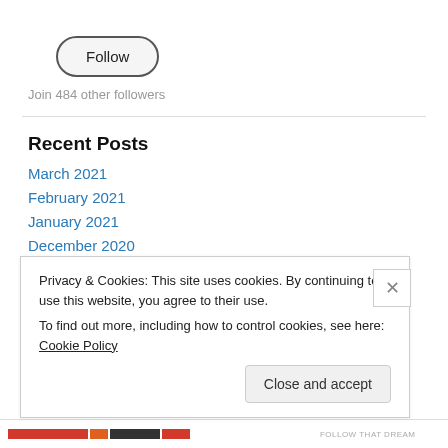[Figure (other): Follow button — rounded pill-shaped button with border]
Join 484 other followers
Recent Posts
March 2021
February 2021
January 2021
December 2020
November 2020
September 2020
Privacy & Cookies: This site uses cookies. By continuing to use this website, you agree to their use.
To find out more, including how to control cookies, see here: Cookie Policy
Close and accept